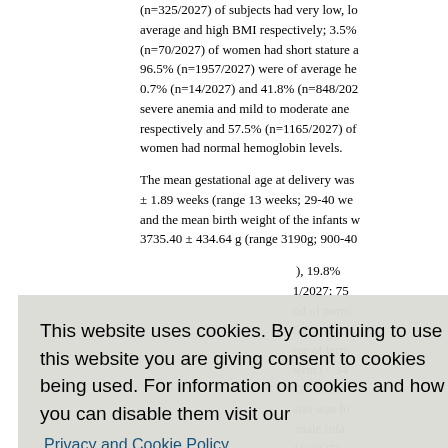(n=325/2027) of subjects had very low, average and high BMI respectively; 3.5% (n=70/2027) of women had short stature and 96.5% (n=1957/2027) were of average height; 0.7% (n=14/2027) and 41.8% (n=848/2027) had severe anemia and mild to moderate anemia respectively and 57.5% (n=1165/2027) of women had normal hemoglobin levels.
The mean gestational age at delivery was ± 1.89 weeks (range 13 weeks; 29-40 weeks) and the mean birth weight of the infants was 3735.40 ± 434.64 g (range 3190g; 900-40...), 19.8% (1/2027; 75... and of norm... 5.8% ...ere of term... term (< 34... -37 weeks... atio was fo... male infa... 11/2027).
The correlation between different maternal variables and obstetric outcome has been...
This website uses cookies. By continuing to use this website you are giving consent to cookies being used. For information on cookies and how you can disable them visit our Privacy and Cookie Policy.
AGREE & PROCEED